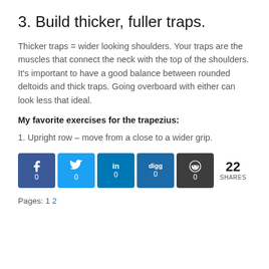3. Build thicker, fuller traps.
Thicker traps = wider looking shoulders. Your traps are the muscles that connect the neck with the top of the shoulders. It's important to have a good balance between rounded deltoids and thick traps. Going overboard with either can look less that ideal.
My favorite exercises for the trapezius:
1. Upright row – move from a close to a wider grip.
[Figure (infographic): Social share buttons showing Facebook (0), Twitter (0), LinkedIn (0), Digg (0), Reddit (0) and total 22 SHARES]
Pages: 1 2